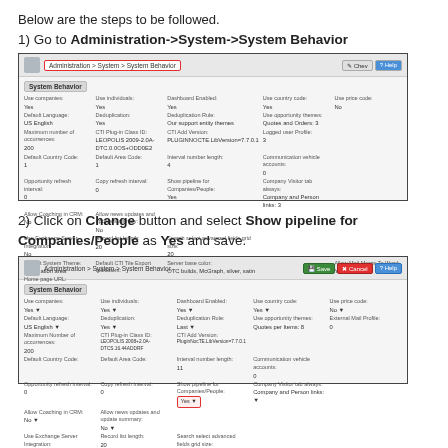Below are the steps to be followed.
1) Go to Administration->System->System Behavior
[Figure (screenshot): Screenshot of the System Behavior administration page showing navigation breadcrumb Administration > System > System Behavior highlighted in red, with a table of system settings including Use companies, Use individuals, Dashboard Enabled, Use country code, Use price code, Default Language, Deduplication, Deduplication Rule, Use opportunity themes, Maximum number of occurrences, CTI Plug-in Class ID, CTI Add Version, Logged user Profile, Default Country Code, Default Area Code, Interval number length, Communication vehicle accounts, Opportunity refresh interval, Copy refresh interval, Show pipeline for Companies/People, Company Visitor tab always, Allow Coaching in CRM, Allow news updates and update summary, Use Exchange Server Integration, Record list length, Search select advanced fields grid size, Default System Theme, Default CTI Tile Export Indicators, Server base color, Home page URL, Allow Mail Merge To Word]
2) Click on Change button and select Show pipeline for Companies/People as Yes and save.
[Figure (screenshot): Screenshot of the System Behavior administration page in edit mode, showing the same settings as above but now editable. Show pipeline for Companies/People field is highlighted in red border. Action buttons Save, Cancel, Help are visible at top right.]